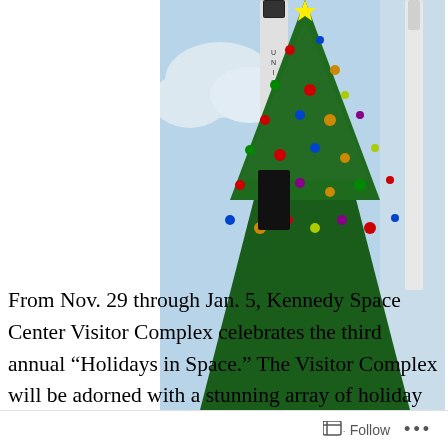[Figure (photo): A large decorated Christmas tree in front of a rocket with 'UNITED STATES' text visible, at Kennedy Space Center. Another white rocket or structure visible on the right. Blue sky with clouds in background.]
3rd Annual 'Holidays in Space' at Kennedy Space Center Visitor Complex takes place Nov. 29-Jan 5.
From Nov. 29 through Jan. 5, Kennedy Space Center Visitor Complex celebrates the third annual “Holidays in Space.” The Visitor Complex will be adorned with a stunning array of holiday decorations, host daily visits with Santa and Mrs. Claus and spark the imagination with the